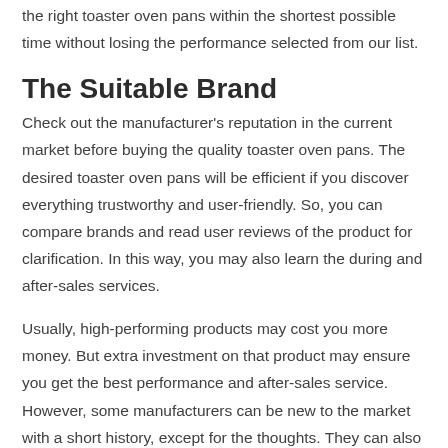the right toaster oven pans within the shortest possible time without losing the performance selected from our list.
The Suitable Brand
Check out the manufacturer's reputation in the current market before buying the quality toaster oven pans. The desired toaster oven pans will be efficient if you discover everything trustworthy and user-friendly. So, you can compare brands and read user reviews of the product for clarification. In this way, you may also learn the during and after-sales services.
Usually, high-performing products may cost you more money. But extra investment on that product may ensure you get the best performance and after-sales service. However, some manufacturers can be new to the market with a short history, except for the thoughts. They can also offer their best to compete and win the market.